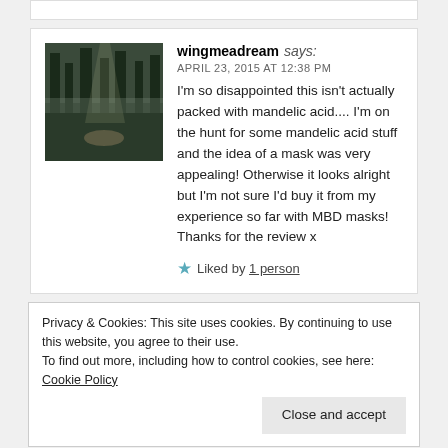wingmeadream says:
APRIL 23, 2015 AT 12:38 PM
I'm so disappointed this isn't actually packed with mandelic acid.... I'm on the hunt for some mandelic acid stuff and the idea of a mask was very appealing! Otherwise it looks alright but I'm not sure I'd buy it from my experience so far with MBD masks! Thanks for the review x
Liked by 1 person
Privacy & Cookies: This site uses cookies. By continuing to use this website, you agree to their use.
To find out more, including how to control cookies, see here: Cookie Policy
Close and accept
Build a writing